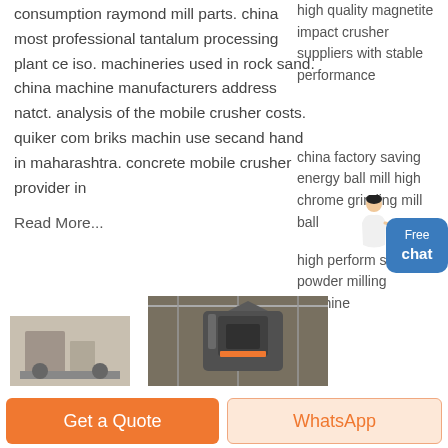consumption raymond mill parts. china most professional tantalum processing plant ce iso. machineries used in rock sand. china machine manufacturers address natct. analysis of the mobile crusher costs. quiker com briks machin use secand hand in maharashtra. concrete mobile crusher provider in
Read More...
high quality magnetite impact crusher suppliers with stable performance
china factory saving energy ball mill high chrome grinding mill ball
high perform stone powder milling machine
[Figure (photo): Industrial machinery photo (left, partial)]
[Figure (photo): Industrial crusher/mill equipment in factory hall]
Get a Quote
WhatsApp